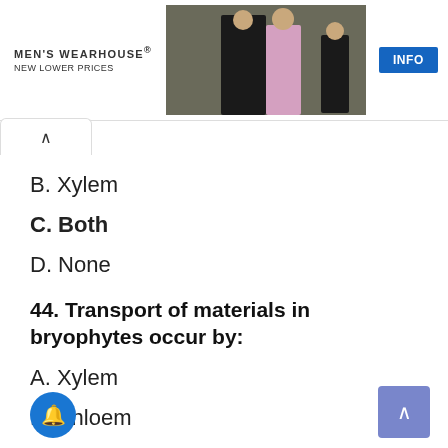[Figure (screenshot): Men's Wearhouse advertisement banner showing couple in formal wear and a child in suit with INFO button]
B. Xylem
C. Both
D. None
44. Transport of materials in bryophytes occur by:
A. Xylem
B. Phloem